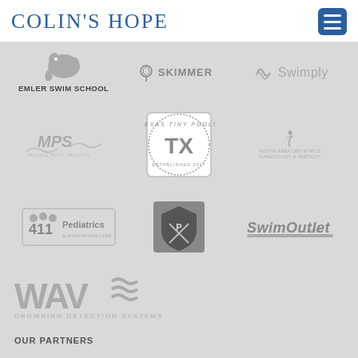COLIN'S HOPE
[Figure (logo): Colin's Hope organization page with sponsor and partner logos including: Emler Swim School, Skimmer, Swimply, MPS (Mobile Pool Service), Texas Tiny Pools, Austin Area Obstetrics Gynecology & Fertility, 411 Pediatrics & After Hours Care, a shield/crest logo, SwimOutlet.com, WAVE Drowning Detection Systems, Pool Safely, The Y (YMCA), Families United to Prevent Drowning]